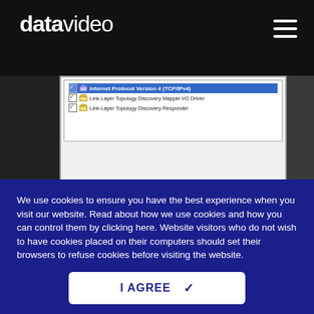datavideo
[Figure (screenshot): Windows network adapter properties dialog showing: Internet Protocol Version 4 (TCP/IPv4) selected in blue, Link-Layer Topology Discovery Mapper I/O Driver, Link-Layer Topology Discovery Responder. Buttons: Install..., Uninstall, Properties. Description box: Transmission Control Protocol/Internet Protocol. The default wide area network protocol that provides communication across diverse interconnected networks.]
We use cookies to ensure you have the best experience when you visit our website. Read about how we use cookies and how you can control them by clicking here. Website visitors who do not wish to have cookies placed on their computers should set their browsers to refuse cookies before visiting the website.
I AGREE